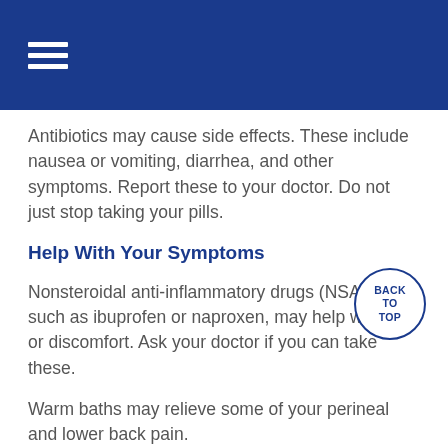Antibiotics may cause side effects. These include nausea or vomiting, diarrhea, and other symptoms. Report these to your doctor. Do not just stop taking your pills.
Help With Your Symptoms
Nonsteroidal anti-inflammatory drugs (NSAIDs), such as ibuprofen or naproxen, may help with pain or discomfort. Ask your doctor if you can take these.
Warm baths may relieve some of your perineal and lower back pain.
Avoid substances that irritate the bladder, such as alcohol, caffeinated beverages, citrus juices, and acidic or